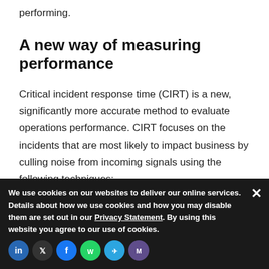performing.
A new way of measuring performance
Critical incident response time (CIRT) is a new, significantly more accurate method to evaluate operations performance. CIRT focuses on the incidents that are most likely to impact business by culling noise from incoming signals using the following techniques:
1. Real business-impacting (or potentially impacting) incidents are very rarely low urgency, so CIRT omits all low-urgency
2. Real busine…
We use cookies on our websites to deliver our online services. Details about how we use cookies and how you may disable them are set out in our Privacy Statement. By using this website you agree to our use of cookies.